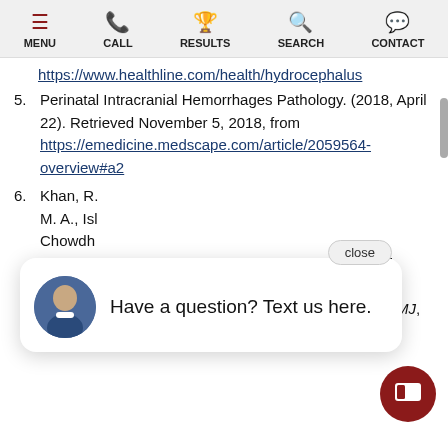MENU  CALL  RESULTS  SEARCH  CONTACT
https://www.healthline.com/health/hydrocephalus
5. Perinatal Intracranial Hemorrhages Pathology. (2018, April 22). Retrieved November 5, 2018, from https://emedicine.medscape.com/article/2059564-overview#a2
6. Khan, R. ... M. A., Isl... Chowdh... grades of intraventricular hemorrhage and severity of hypoxic ischemic encephalop... in perinatal asphyxia. Mymensingh medical journal: MMJ, 23(1), 7-12.
[Figure (other): Chat popup with avatar photo of man and text 'Have a question? Text us here.' with close button, and a dark red circular chat button in bottom right.]